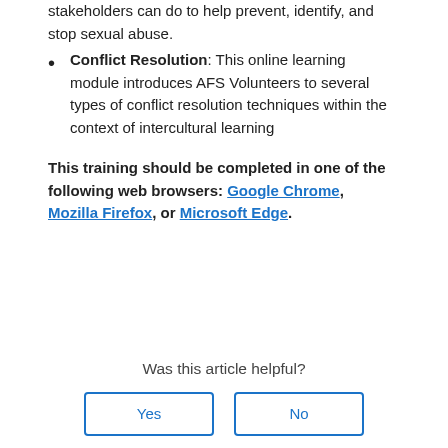stakeholders can do to help prevent, identify, and stop sexual abuse.
Conflict Resolution: This online learning module introduces AFS Volunteers to several types of conflict resolution techniques within the context of intercultural learning
This training should be completed in one of the following web browsers: Google Chrome, Mozilla Firefox, or Microsoft Edge.
Was this article helpful?